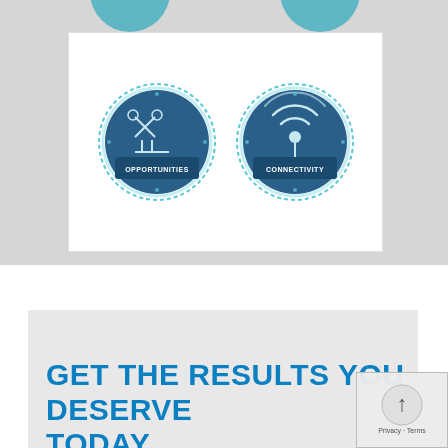[Figure (illustration): Two circular icons on a white card within a gray background section. Left circle is dark blue/teal with a scissors/DNA-like icon and banner text 'OPPORTUNITIES'. Right circle is dark blue/teal with a wireless/signal icon and banner text 'CONNECTIVITY'.]
GET THE RESULTS YOU DESERVE TODAY